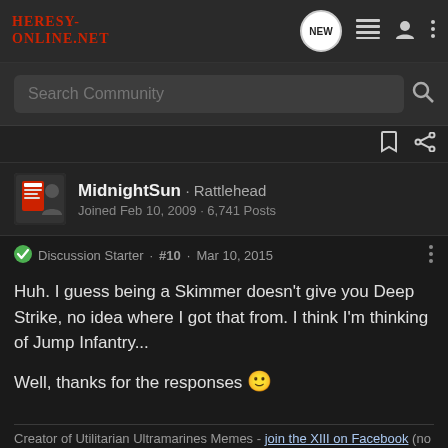Heresy-Online.net — navigation header with logo, NEW bubble, list icon, user icon, more icon
Search Community
bookmark and share icons
MidnightSun · Rattlehead
Joined Feb 10, 2009 · 6,741 Posts
Discussion Starter · #10 · Mar 10, 2015
Huh. I guess being a Skimmer doesn't give you Deep Strike, no idea where I got that from. I think I'm thinking of Jump Infantry...

Well, thanks for the responses 🙂
Creator of Utilitarian Ultramarines Memes - join the XIII on Facebook (no